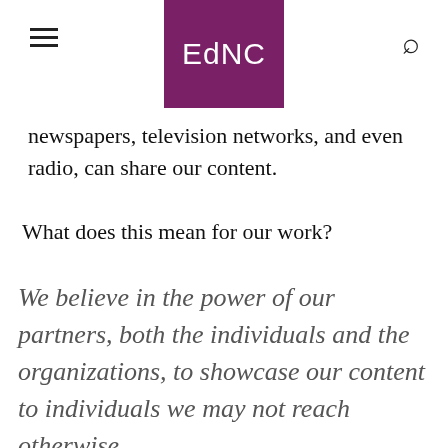EdNC
newspapers, television networks, and even radio, can share our content.
What does this mean for our work?
We believe in the power of our partners, both the individuals and the organizations, to showcase our content to individuals we may not reach otherwise.